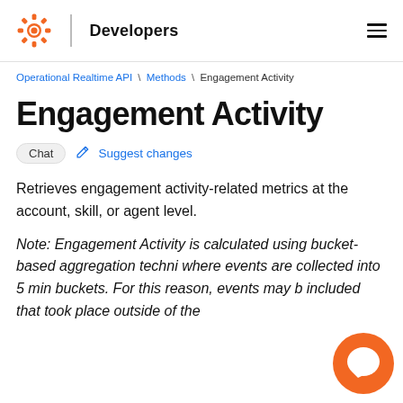Developers
Operational Realtime API \ Methods \ Engagement Activity
Engagement Activity
Chat  Suggest changes
Retrieves engagement activity-related metrics at the account, skill, or agent level.
Note: Engagement Activity is calculated using bucket-based aggregation techni where events are collected into 5 min buckets. For this reason, events may b included that took place outside of the